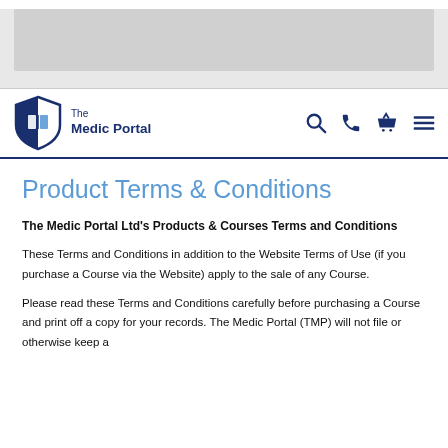[Figure (other): Grey advertisement banner at top of page]
The Medic Portal — navigation bar with logo, search, phone, basket, and menu icons
Product Terms & Conditions
The Medic Portal Ltd's Products & Courses Terms and Conditions
These Terms and Conditions in addition to the Website Terms of Use (if you purchase a Course via the Website) apply to the sale of any Course.
Please read these Terms and Conditions carefully before purchasing a Course and print off a copy for your records. The Medic Portal (TMP) will not file or otherwise keep a copy of the agreement concluded between you and TMP...